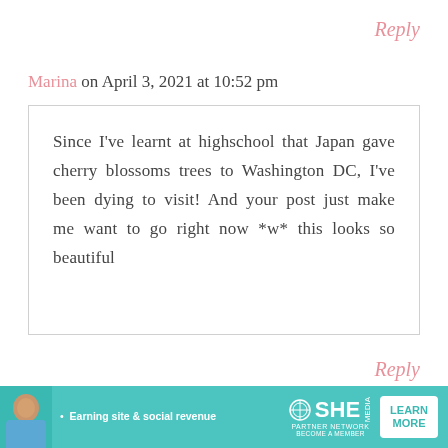Reply
Marina on April 3, 2021 at 10:52 pm
Since I’ve learnt at highschool that Japan gave cherry blossoms trees to Washington DC, I’ve been dying to visit! And your post just make me want to go right now *w* this looks so beautiful
Reply
Taylor Deer on April 3, 2021 at 11:03 pm
[Figure (infographic): Advertisement banner for SHE Media Partner Network: Earning site & social revenue. Shows a woman photo, SHE Media logo, and LEARN MORE button on teal background.]